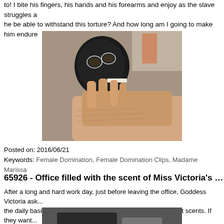to! I bite his fingers, his hands and his forearms and enjoy as the slave struggles a... he be able to withstand this torture? And how long am I going to make him endure...
[Figure (photo): Person wearing a black decorative mask biting or nibbling on someone's hand/forearm area, close-up photo]
Posted on: 2016/06/21
Keywords: Female Domination, Female Domination Clips, Madame Marissa
65926 - Office filled with the scent of Miss Victoria's tired f...
After a long and hard work day, just before leaving the office, Goddess Victoria ask... the daily basis, to freshen her feet and remove any unpleasant scents. If they want... better to do what she says!
[Figure (photo): Office scene with dark clothing visible, partial photo at bottom of page]